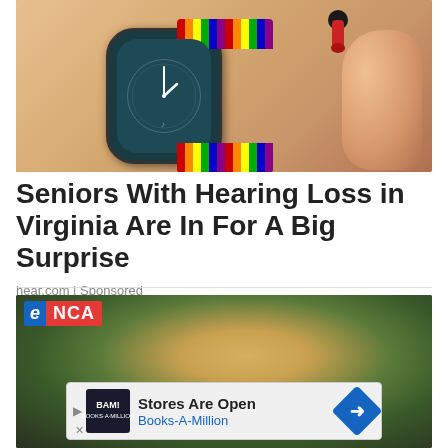[Figure (photo): Photo of a smartwatch with colorful beaded band on a person's wrist, with a small red hearing aid device visible nearby, fingers in background]
Seniors With Hearing Loss in Virginia Are In For A Big Surprise
hear.com | Sponsored
[Figure (photo): eNCA news article photo showing a rugby player with long blonde hair wearing a green South African rugby jersey, with a Books-A-Million advertisement overlay at the bottom reading 'Stores Are Open / Books-A-Million']